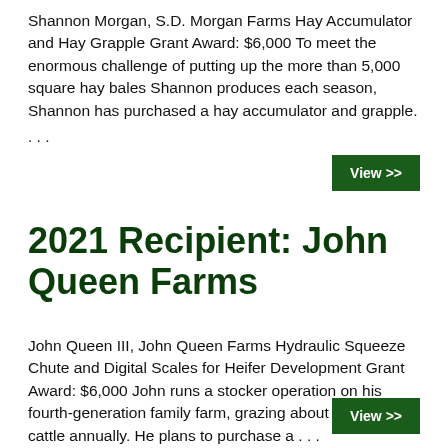Shannon Morgan, S.D. Morgan Farms Hay Accumulator and Hay Grapple Grant Award: $6,000 To meet the enormous challenge of putting up the more than 5,000 square hay bales Shannon produces each season, Shannon has purchased a hay accumulator and grapple. ...
2021 Recipient: John Queen Farms
John Queen III, John Queen Farms Hydraulic Squeeze Chute and Digital Scales for Heifer Development Grant Award: $6,000 John runs a stocker operation on his fourth-generation family farm, grazing about 500 head of cattle annually. He plans to purchase a ...